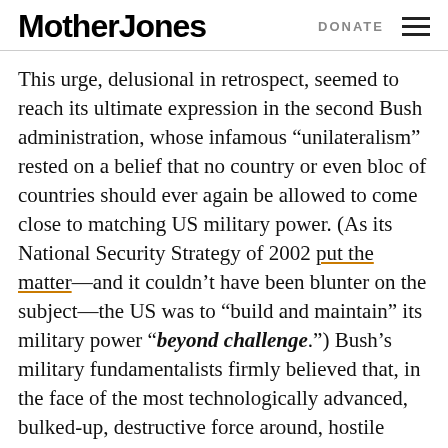Mother Jones  DONATE
This urge, delusional in retrospect, seemed to reach its ultimate expression in the second Bush administration, whose infamous “unilateralism” rested on a belief that no country or even bloc of countries should ever again be allowed to come close to matching US military power. (As its National Security Strategy of 2002 put the matter—and it couldn’t have been blunter on the subject—the US was to “build and maintain” its military power “beyond challenge.”) Bush’s military fundamentalists firmly believed that, in the face of the most technologically advanced, bulked-up, destructive force around, hostile states would be